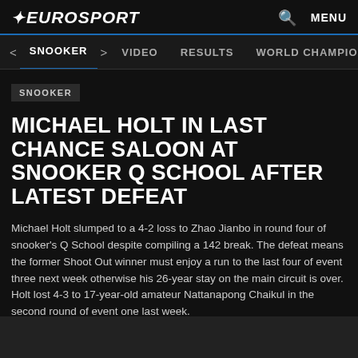★EUROSPORT  🔍  MENU
< SNOOKER >   VIDEO   RESULTS   WORLD CHAMPION >
SNOOKER
MICHAEL HOLT IN LAST CHANCE SALOON AT SNOOKER Q SCHOOL AFTER LATEST DEFEAT
Michael Holt slumped to a 4-2 loss to Zhao Jianbo in round four of snooker's Q School despite compiling a 142 break. The defeat means the former Shoot Out winner must enjoy a run to the last four of event three next week otherwise his 26-year stay on the main circuit is over. Holt lost 4-3 to 17-year-old amateur Nattanapong Chaikul in the second round of event one last week.